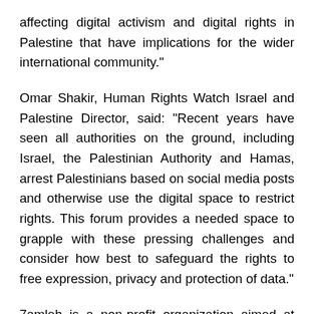affecting digital activism and digital rights in Palestine that have implications for the wider international community."
Omar Shakir, Human Rights Watch Israel and Palestine Director, said: "Recent years have seen all authorities on the ground, including Israel, the Palestinian Authority and Hamas, arrest Palestinians based on social media posts and otherwise use the digital space to restrict rights. This forum provides a needed space to grapple with these pressing challenges and consider how best to safeguard the rights to free expression, privacy and protection of data."
7amleh is a non-profit organization aimed at enabling Palestinian and Arab civil society to effectively utilize